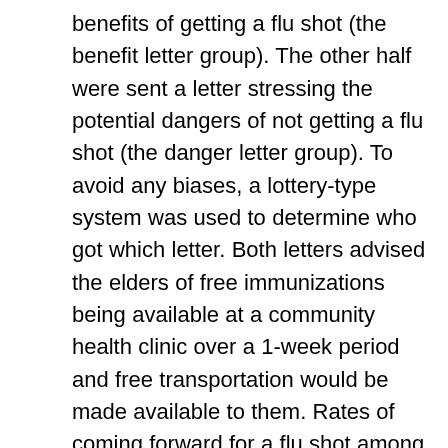benefits of getting a flu shot (the benefit letter group). The other half were sent a letter stressing the potential dangers of not getting a flu shot (the danger letter group). To avoid any biases, a lottery-type system was used to determine who got which letter. Both letters advised the elders of free immunizations being available at a community health clinic over a 1-week period and free transportation would be made available to them. Rates of coming forward for a flu shot among the two groups of elders were monitored to assess whether one approach of encouragement was more persuasive than the other. Results revealed a higher percentage of elderly in the “benefit letter” group obtained a flu shot than the elders in the “danger letter” group.Discuss in one paragraph whether and how, this study addressed a research purpose linked to evidence-based practice. (10 points)In what ways could the researcher have